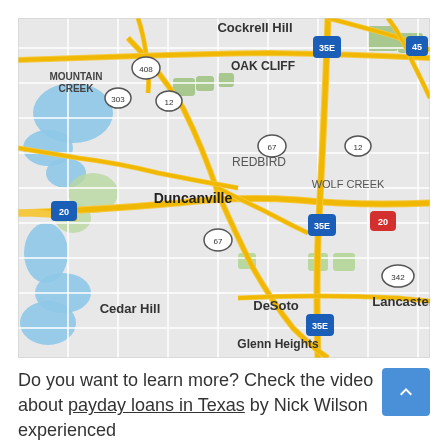[Figure (map): Google Maps screenshot showing Duncanville, Texas and surrounding areas including Cockrell Hill, Oak Cliff, Mountain Creek, Redbird, Wolf Creek, Cedar Hill, DeSoto, Glenn Heights, Lancaster. Major roads visible including highways 20, 35E, 67, 408, 303, 12, 45, 342.]
Do you want to learn more? Check the video about payday loans in Texas by Nick Wilson experienced loan offi...